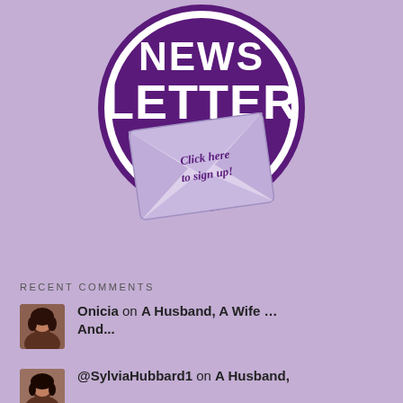[Figure (illustration): Newsletter signup graphic with purple circular badge reading NEWS LETTER and an envelope icon saying Click here to sign up!]
RECENT COMMENTS
Onicia on A Husband, A Wife … And...
@SylviaHubbard1 on A Husband,